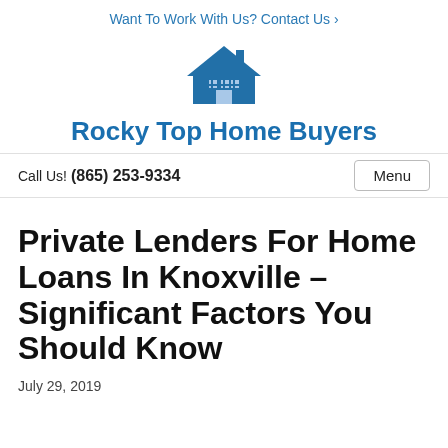Want To Work With Us? Contact Us ›
[Figure (logo): Rocky Top Home Buyers house icon logo in blue]
Rocky Top Home Buyers
Call Us! (865) 253-9334
Menu
Private Lenders For Home Loans In Knoxville – Significant Factors You Should Know
July 29, 2019